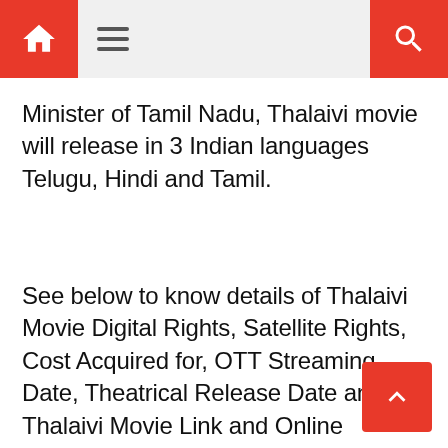[navigation bar with home, menu, and search icons]
Minister of Tamil Nadu, Thalaivi movie will release in 3 Indian languages Telugu, Hindi and Tamil.
See below to know details of Thalaivi Movie Digital Rights, Satellite Rights, Cost Acquired for, OTT Streaming Date, Theatrical Release Date and Thalaivi Movie Link and Online Release Date.